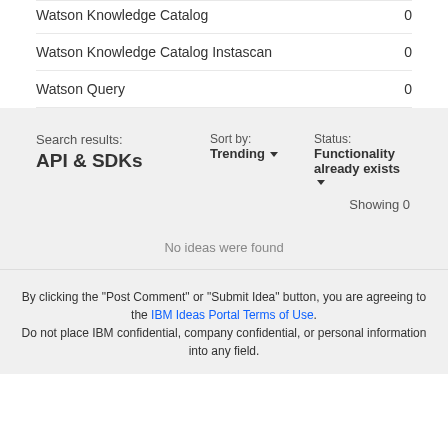Watson Knowledge Catalog  0
Watson Knowledge Catalog Instascan  0
Watson Query  0
Search results: API & SDKs
Sort by: Trending
Status: Functionality already exists
Showing 0
No ideas were found
By clicking the "Post Comment" or "Submit Idea" button, you are agreeing to the IBM Ideas Portal Terms of Use. Do not place IBM confidential, company confidential, or personal information into any field.